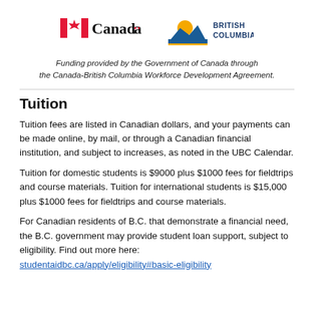[Figure (logo): Canada wordmark logo with red maple leaf flag icon]
[Figure (logo): British Columbia logo with sun and mountains icon and text 'British Columbia']
Funding provided by the Government of Canada through the Canada-British Columbia Workforce Development Agreement.
Tuition
Tuition fees are listed in Canadian dollars, and your payments can be made online, by mail, or through a Canadian financial institution, and subject to increases, as noted in the UBC Calendar.
Tuition for domestic students is $9000 plus $1000 fees for fieldtrips and course materials. Tuition for international students is $15,000 plus $1000 fees for fieldtrips and course materials.
For Canadian residents of B.C. that demonstrate a financial need, the B.C. government may provide student loan support, subject to eligibility. Find out more here: studentaidbc.ca/apply/eligibility#basic-eligibility